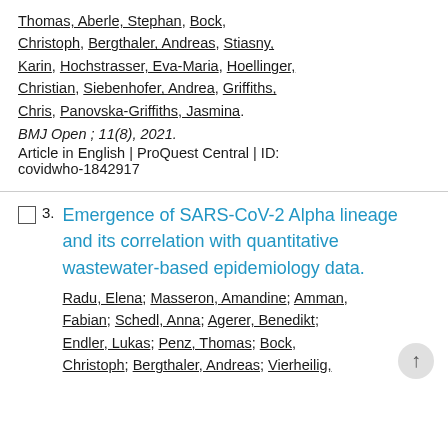Thomas, Aberle, Stephan, Bock, Christoph, Bergthaler, Andreas, Stiasny, Karin, Hochstrasser, Eva-Maria, Hoellinger, Christian, Siebenhofer, Andrea, Griffiths, Chris, Panovska-Griffiths, Jasmina. BMJ Open ; 11(8), 2021. Article in English | ProQuest Central | ID: covidwho-1842917
Emergence of SARS-CoV-2 Alpha lineage and its correlation with quantitative wastewater-based epidemiology data.
Radu, Elena; Masseron, Amandine; Amman, Fabian; Schedl, Anna; Agerer, Benedikt; Endler, Lukas; Penz, Thomas; Bock, Christoph; Bergthaler, Andreas; Vierheilig,